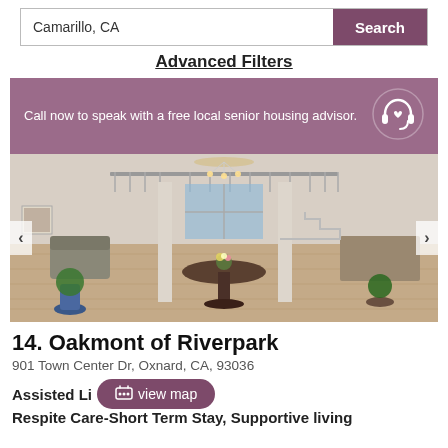Camarillo, CA
Search
Advanced Filters
Call now to speak with a free local senior housing advisor.
[Figure (photo): Interior lobby of a senior living facility with high ceilings, a central round table with flowers, seating areas, plants, and a second-floor balcony]
14. Oakmont of Riverpark
901 Town Center Dr, Oxnard, CA, 93036
Assisted Living, Respite Care-Short Term Stay, Supportive living